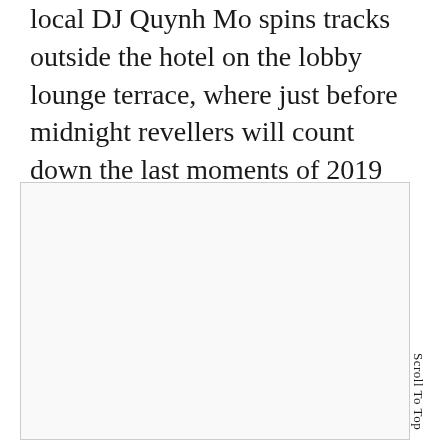local DJ Quynh Mo spins tracks outside the hotel on the lobby lounge terrace, where just before midnight revellers will count down the last moments of 2019 and greet the New Year with a spectacular fireworks show.
[Figure (photo): A large mostly blank/white image placeholder within a light gray bordered rectangle]
Scroll To Top